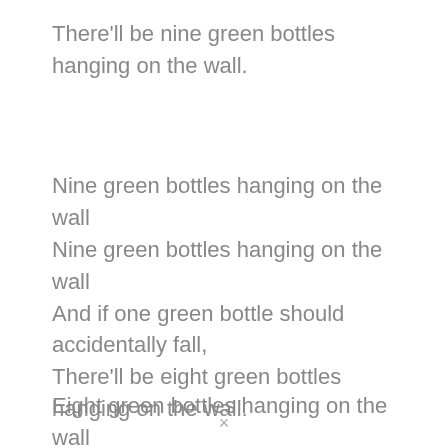There'll be nine green bottles hanging on the wall.
Nine green bottles hanging on the wall
Nine green bottles hanging on the wall
And if one green bottle should accidentally fall,
There'll be eight green bottles hanging on the wall.
Eight green bottles hanging on the wall
Eight green bottles hanging on the wall
And if one green bottle should accidentally fall,
×